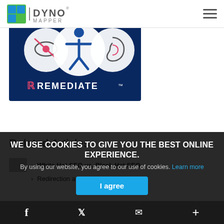Dyno Mapper
[Figure (screenshot): Remediate accessibility tool banner image on dark blue background showing icons for visual, mobility, and hearing accessibility with the REMEDIATE™ logo]
Related Articles
> White Hat SEO vs. Black Hat SEO
> Redirection and ... Rankings
WE USE COOKIES TO GIVE YOU THE BEST ONLINE EXPERIENCE. By using our website, you agree to our use of cookies. Learn more
I agree